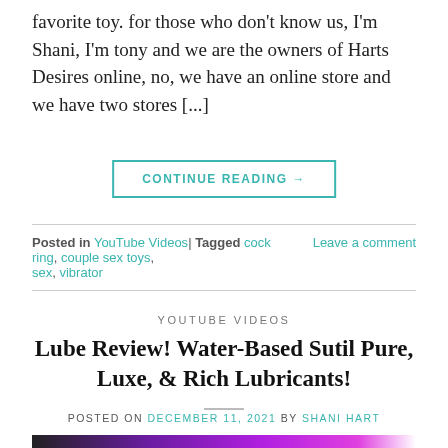favorite toy. for those who don't know us, I'm Shani, I'm tony and we are the owners of Harts Desires online, no, we have an online store and we have two stores [...]
CONTINUE READING →
Posted in YouTube Videos| Tagged cock ring, couple sex toys, sex, vibrator    Leave a comment
YOUTUBE VIDEOS
Lube Review! Water-Based Sutil Pure, Luxe, & Rich Lubricants!
POSTED ON DECEMBER 11, 2021 BY SHANI HART
[Figure (photo): Thumbnail image showing 'LUBE REVIEW' text in yellow on a purple background with YouTube icon and logo]